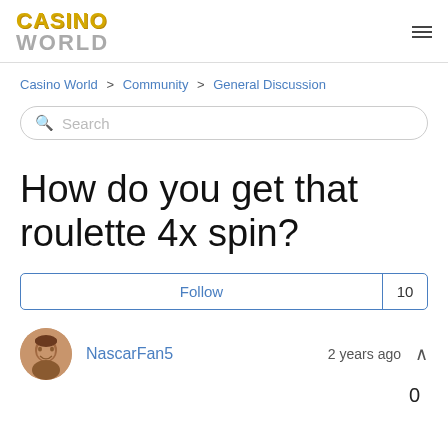Casino World
Casino World > Community > General Discussion
Search
How do you get that roulette 4x spin?
Follow  10
NascarFan5  2 years ago  0